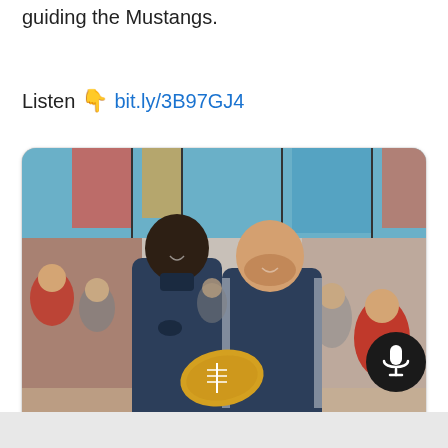guiding the Mustangs.
Listen 👇 bit.ly/3B97GJ4
[Figure (photo): Two men in dark athletic jackets holding a yellow football, surrounded by students in a school or church setting with stained glass windows in the background.]
theiinwin.com